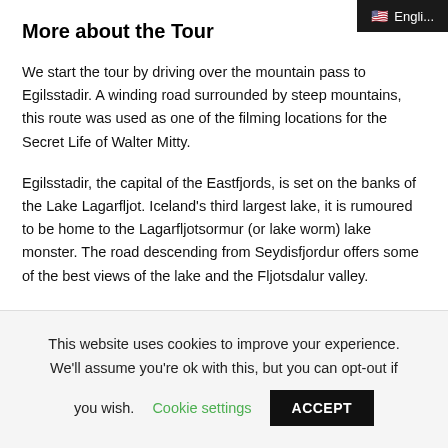Engli...
More about the Tour
We start the tour by driving over the mountain pass to Egilsstadir. A winding road surrounded by steep mountains, this route was used as one of the filming locations for the Secret Life of Walter Mitty.
Egilsstadir, the capital of the Eastfjords, is set on the banks of the Lake Lagarfljot. Iceland’s third largest lake, it is rumoured to be home to the Lagarfljotsormur (or lake worm) lake monster. The road descending from Seydisfjordur offers some of the best views of the lake and the Fljotsdalur valley.
This website uses cookies to improve your experience. We’ll assume you’re ok with this, but you can opt-out if you wish. Cookie settings ACCEPT